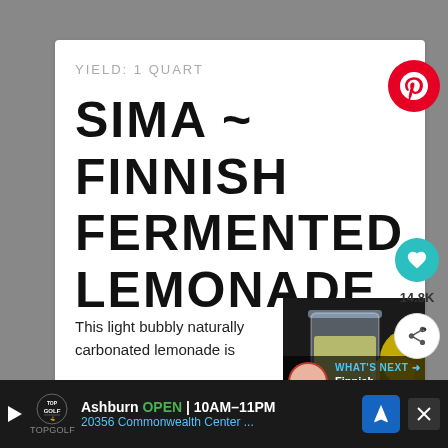YIELD: 1 QUART
SIMA ~ FINNISH FERMENTED LEMONADE
This light bubbly naturally carbonated lemonade is
[Figure (photo): Photo of a glass of lemonade with lemons in the background on a dark surface, with a 'What's Next' overlay showing Finnish Salmon Sou...]
Ashburn OPEN 10AM–11PM 20356 Commonwealth Center ...